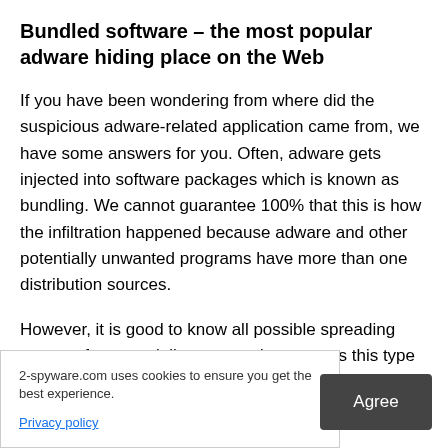Bundled software – the most popular adware hiding place on the Web
If you have been wondering from where did the suspicious adware-related application came from, we have some answers for you. Often, adware gets injected into software packages which is known as bundling. We cannot guarantee 100% that this is how the infiltration happened because adware and other potentially unwanted programs have more than one distribution sources.
However, it is good to know all possible spreading sources for potentially unwanted content as this type of knowledge increases the chances of avoiding infectious threats. Note
2-spyware.com uses cookies to ensure you get the best experience.
Privacy policy